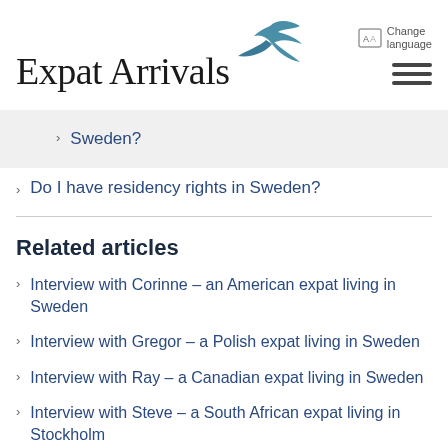Expat Arrivals
Sweden?
Do I have residency rights in Sweden?
Related articles
Interview with Corinne – an American expat living in Sweden
Interview with Gregor – a Polish expat living in Sweden
Interview with Ray – a Canadian expat living in Sweden
Interview with Steve – a South African expat living in Stockholm
Interview with Amanda – a Canadian expat living in